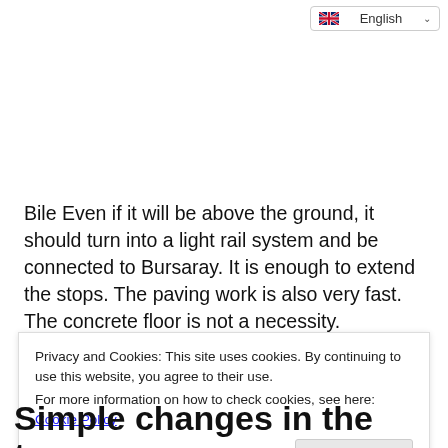English
Bile Even if it will be above the ground, it should turn into a light rail system and be connected to Bursaray. It is enough to extend the stops. The paving work is also very fast. The concrete floor is not a necessity.
Privacy and Cookies: This site uses cookies. By continuing to use this website, you agree to their use.
For more information on how to check cookies, see here: Cookie Policy
OK
Simple changes in the trans...